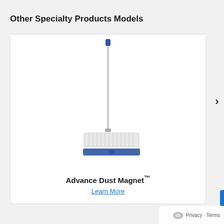Other Specialty Products Models
[Figure (photo): A flat mop (Advance Dust Magnet) with a long metal handle and a blue/white flat mop head base, shown standing upright.]
Advance Dust Magnet™
Learn More
Privacy · Terms